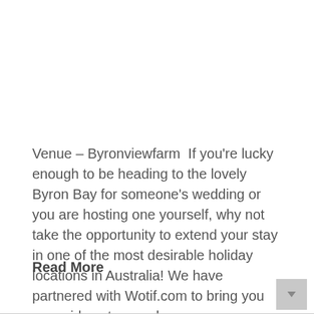Venue – Byronviewfarm  If you're lucky enough to be heading to the lovely Byron Bay for someone's wedding or you are hosting one yourself, why not take the opportunity to extend your stay in one of the most desirable holiday locations in Australia! We have partnered with Wotif.com to bring you some ideas to round…
Read More